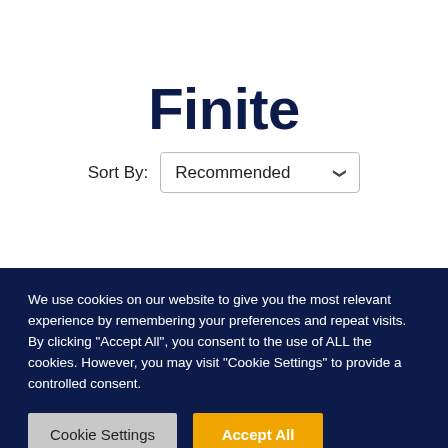Finite
Sort By:  Recommended
We use cookies on our website to give you the most relevant experience by remembering your preferences and repeat visits. By clicking “Accept All”, you consent to the use of ALL the cookies. However, you may visit "Cookie Settings" to provide a controlled consent.
Cookie Settings  Accept All